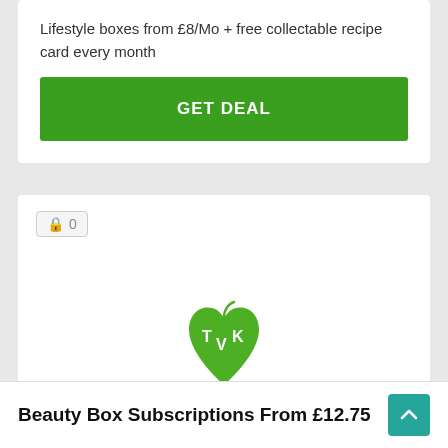Lifestyle boxes from £8/Mo + free collectable recipe card every month
GET DEAL
[Figure (logo): TVK heart-shaped leaf logo in green with letters T, V, K inside]
Beauty Box Subscriptions From £12.75